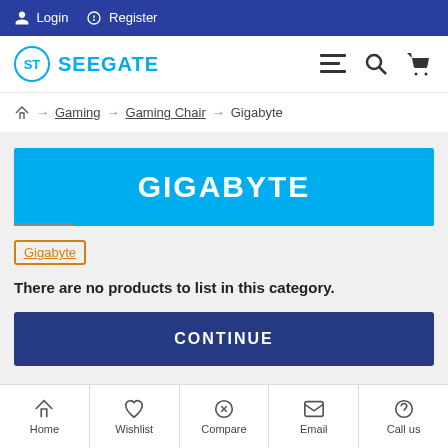Login  Register
[Figure (logo): Seegate logo with circular ST icon and SEEGATE text in blue, with hamburger menu, search, and cart icons on the right]
Home → Gaming → Gaming Chair → Gigabyte
GIGABYTE
Gigabyte
There are no products to list in this category.
CONTINUE
Home  Wishlist  Compare  Email  Call us